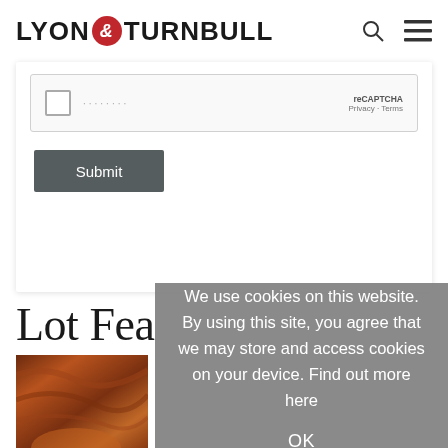LYON & TURNBULL
[Figure (screenshot): reCAPTCHA checkbox widget with 'reCAPTCHA Privacy - Terms' label on the right side]
Submit
Lot Fea
[Figure (photo): Partial view of auction item with wood grain texture in reddish-brown tones]
We use cookies on this website. By using this site, you agree that we may store and access cookies on your device. Find out more here
OK